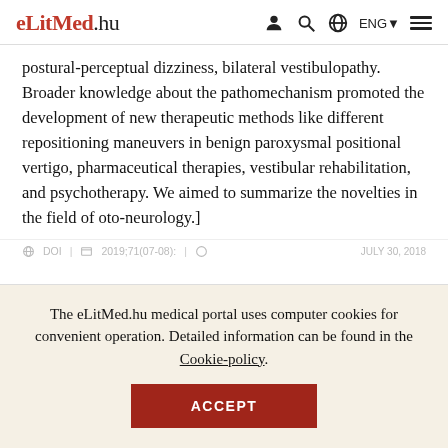eLitMed.hu — navigation header with ENG language selector
postural-perceptual dizziness, bilateral vestibulopathy. Broader knowledge about the pathomechanism promoted the development of new therapeutic methods like different repositioning maneuvers in benign paroxysmal positional vertigo, pharmaceutical therapies, vestibular rehabilitation, and psychotherapy. We aimed to summarize the novelties in the field of oto-neurology.]
JULY 30, 2018
The eLitMed.hu medical portal uses computer cookies for convenient operation. Detailed information can be found in the Cookie-policy.
ACCEPT